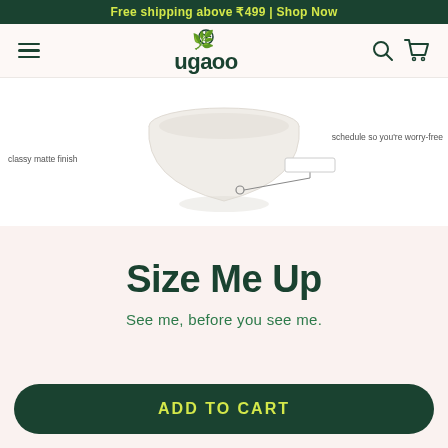Free shipping above ₹499 | Shop Now
[Figure (screenshot): Ugaoo website navigation bar with hamburger menu on left, Ugaoo logo with leaf icon in center, search and cart icons on right]
[Figure (photo): Partial product image showing a cream/white ceramic bowl with matte finish on left, and text about schedule on right, with connector line graphic]
Size Me Up
See me, before you see me.
ADD TO CART